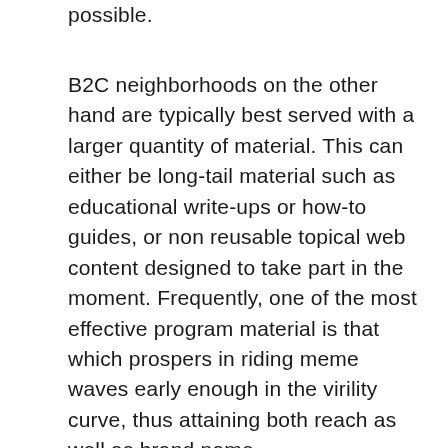possible.
B2C neighborhoods on the other hand are typically best served with a larger quantity of material. This can either be long-tail material such as educational write-ups or how-to guides, or non reusable topical web content designed to take part in the moment. Frequently, one of the most effective program material is that which prospers in riding meme waves early enough in the virility curve, thus attaining both reach as well as brand name acknowledgment as the meme proceeds. Effective on-site web content is usually search engine optimization friendly overviews created by the area, or posts written by the Area Manager focusing on neighborhood rate of interests or subjects looking for brand-new community individuals.